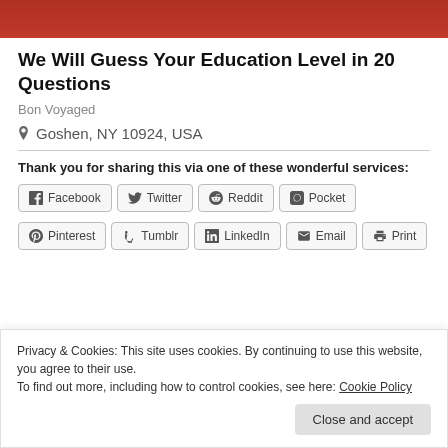[Figure (photo): Top portion of an image, showing red background, partially cropped]
We Will Guess Your Education Level in 20 Questions
Bon Voyaged
Goshen, NY 10924, USA
Thank you for sharing this via one of these wonderful services:
Facebook
Twitter
Reddit
Pocket
Pinterest
Tumblr
LinkedIn
Email
Print
Privacy & Cookies: This site uses cookies. By continuing to use this website, you agree to their use.
To find out more, including how to control cookies, see here: Cookie Policy
Close and accept
[Figure (photo): Bottom left partially cropped image]
[Figure (photo): Bottom right partially cropped image]